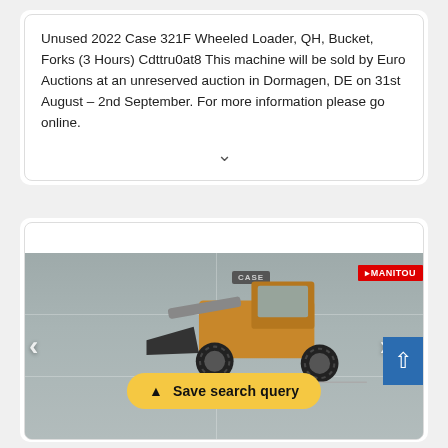Unused 2022 Case 321F Wheeled Loader, QH, Bucket, Forks (3 Hours) Cdttru0at8 This machine will be sold by Euro Auctions at an unreserved auction in Dormagen, DE on 31st August – 2nd September. For more information please go online.
[Figure (photo): Photo of a yellow Case 321F wheeled loader in front of a concrete wall with CASE and MANITOU signs. Navigation arrows and a 'Save search query' button overlay are visible.]